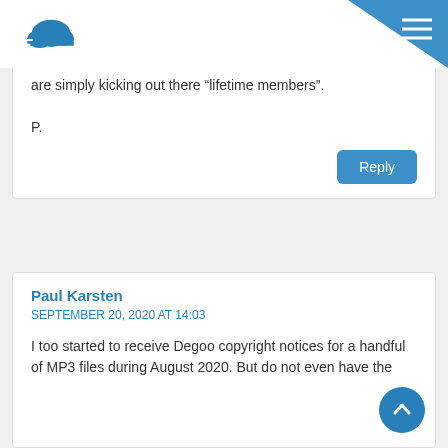[Figure (logo): Cloudwards wind cloud logo in blue]
are simply kicking out there “lifetime members”.

P.
Reply
Paul Karsten
SEPTEMBER 20, 2020 AT 14:03
I too started to receive Degoo copyright notices for a handful of MP3 files during August 2020. But do not even have the